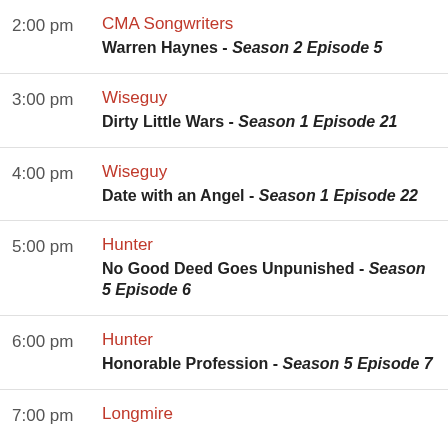2:00 pm | CMA Songwriters | Warren Haynes - Season 2 Episode 5
3:00 pm | Wiseguy | Dirty Little Wars - Season 1 Episode 21
4:00 pm | Wiseguy | Date with an Angel - Season 1 Episode 22
5:00 pm | Hunter | No Good Deed Goes Unpunished - Season 5 Episode 6
6:00 pm | Hunter | Honorable Profession - Season 5 Episode 7
7:00 pm | Longmire